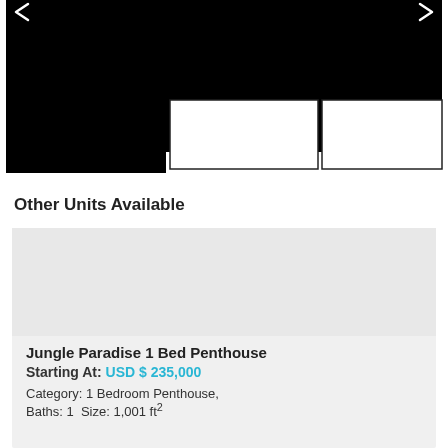[Figure (photo): Property image carousel showing main dark image with thumbnail strip below including two white thumbnail boxes]
Other Units Available
[Figure (photo): Property listing card image placeholder (light gray)]
Jungle Paradise 1 Bed Penthouse
Starting At: USD $ 235,000
Category: 1 Bedroom Penthouse, Baths: 1  Size: 1,001 ft²